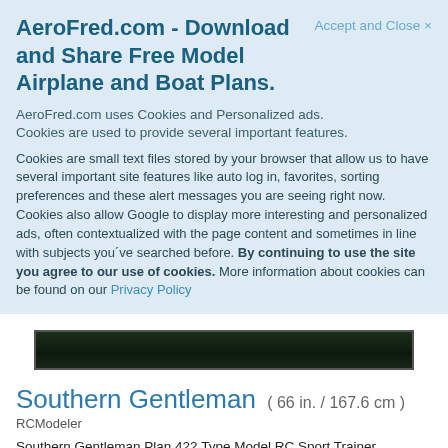AeroFred.com - Download and Share Free Model Airplane and Boat Plans.
Accept and Close ×
AeroFred.com uses Cookies and Personalized ads.
Cookies are used to provide several important features.
Cookies are small text files stored by your browser that allow us to have several important site features like auto log in, favorites, sorting preferences and these alert messages you are seeing right now. Cookies also allow Google to display more interesting and personalized ads, often contextualized with the page content and sometimes in line with subjects you´ve searched before. By continuing to use the site you agree to our use of cookies. More information about cookies can be found on our Privacy Policy
[Figure (photo): Dark image strip, likely a partial view of a model airplane or landscape photo]
Southern Gentleman ( 66 in. / 167.6 cm )
RCModeler
Southern Gentleman Plan 422 Type Model RC Sport Trainer. Wingspan 66in.Highwing. Engine Glow Enya .60 Control 3 - 4 channels. Designer Walt Mitchell. Magazine RCModeler February…